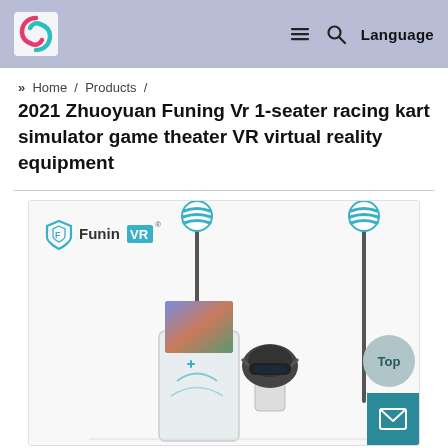FuninVR logo, navigation menu, search, Language
» Home / Products /
2021 Zhuoyuan Funing Vr 1-seater racing kart simulator game theater VR virtual reality equipment
[Figure (photo): Product photo showing FuninVR branded VR racing kart simulator equipment with a screen kiosk, VR headset stands with blue-and-white ball tops, and a racing seat unit. FuninVR logo visible top-left of image. 'Top' button and mail icon overlay bottom-right.]